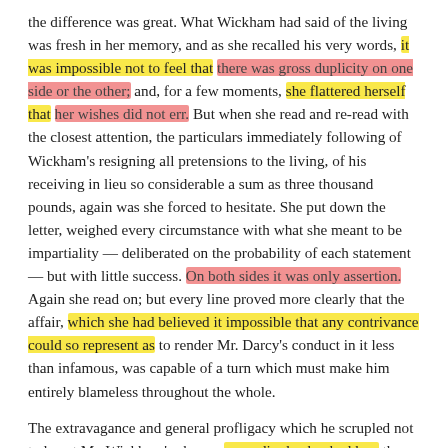the difference was great. What Wickham had said of the living was fresh in her memory, and as she recalled his very words, it was impossible not to feel that there was gross duplicity on one side or the other; and, for a few moments, she flattered herself that her wishes did not err. But when she read and re-read with the closest attention, the particulars immediately following of Wickham's resigning all pretensions to the living, of his receiving in lieu so considerable a sum as three thousand pounds, again was she forced to hesitate. She put down the letter, weighed every circumstance with what she meant to be impartiality — deliberated on the probability of each statement — but with little success. On both sides it was only assertion. Again she read on; but every line proved more clearly that the affair, which she had believed it impossible that any contrivance could so represent as to render Mr. Darcy's conduct in it less than infamous, was capable of a turn which must make him entirely blameless throughout the whole.
The extravagance and general profligacy which he scrupled not to lay at Mr. Wickham's charge, exceedingly shocked her; the